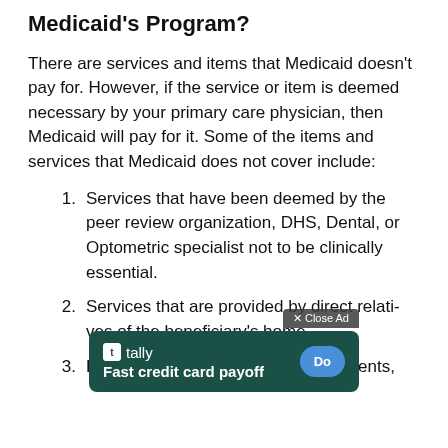Medicaid's Program?
There are services and items that Medicaid doesn't pay for. However, if the service or item is deemed necessary by your primary care physician, then Medicaid will pay for it. Some of the items and services that Medicaid does not cover include:
Services that have been deemed by the peer review organization, DHS, Dental, or Optometric specialist not to be clinically essential.
Services that are provided by direct relatives of the beneficiary's home.
Home remedies, nutritional supplements,